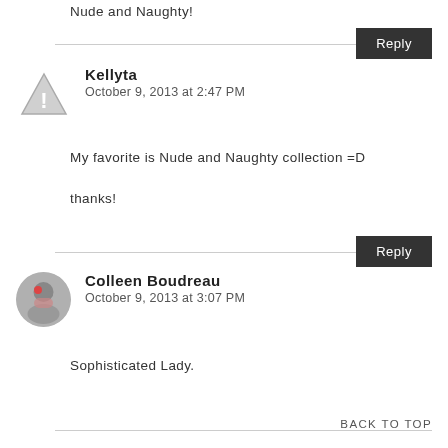Nude and Naughty!
Reply
Kellyta
October 9, 2013 at 2:47 PM
My favorite is Nude and Naughty collection =D

thanks!
Reply
Colleen Boudreau
October 9, 2013 at 3:07 PM
Sophisticated Lady.
BACK TO TOP